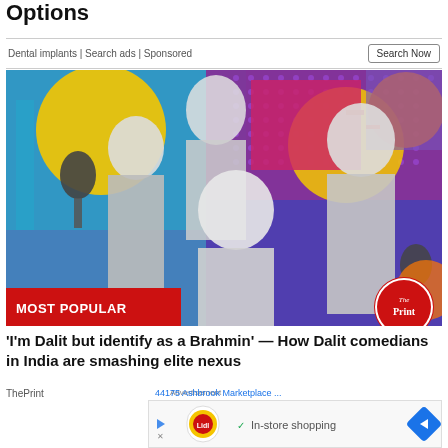Options
Dental implants | Search ads | Sponsored
[Figure (photo): Colorful collage photo of four Indian comedians against a vibrant purple, blue, yellow, and pink graphic background with a 'MOST POPULAR' red tag and The Print logo badge]
'I'm Dalit but identify as a Brahmin' — How Dalit comedians in India are smashing elite nexus
ThePrint
Advertisement
44175 Ashbrook Marketplace ...
[Figure (screenshot): Advertisement block showing Lidl logo, left navigation arrow, right blue arrow, and text 'In-store shopping']